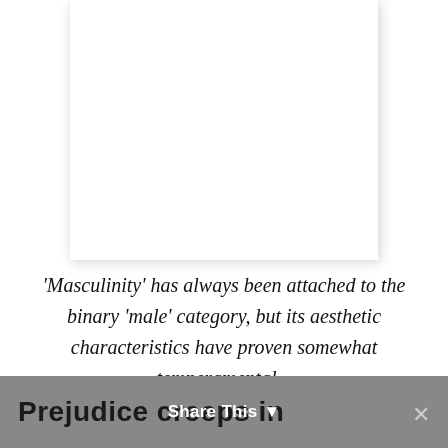[Figure (other): White card/paper element with drop shadow in upper portion of page]
‘Masculinity’ has always been attached to the binary ‘male’ category, but its aesthetic characteristics have proven somewhat temperamental...
Prejudice creeps in
Share This